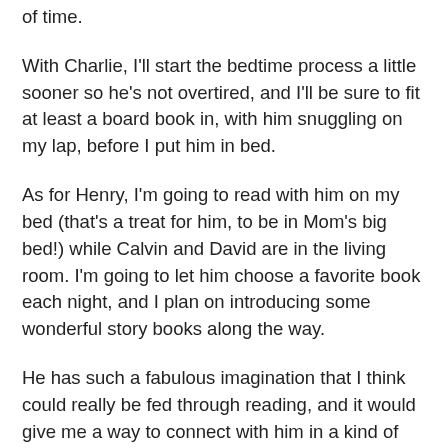of time.
With Charlie, I'll start the bedtime process a little sooner so he's not overtired, and I'll be sure to fit at least a board book in, with him snuggling on my lap, before I put him in bed.
As for Henry, I'm going to read with him on my bed (that's a treat for him, to be in Mom's big bed!) while Calvin and David are in the living room. I'm going to let him choose a favorite book each night, and I plan on introducing some wonderful story books along the way.
He has such a fabulous imagination that I think could really be fed through reading, and it would give me a way to connect with him in a kind of common imaginary world. He is also starting to read on his own, so I'm going to look for some good beginning stories that he can attempt with some focused attention and help from me.
I haven't made a list of books for Henry, but I've come across a few that I want to try especially with him, because he loves silliness and fantasy and the absurd. And I love to listen to